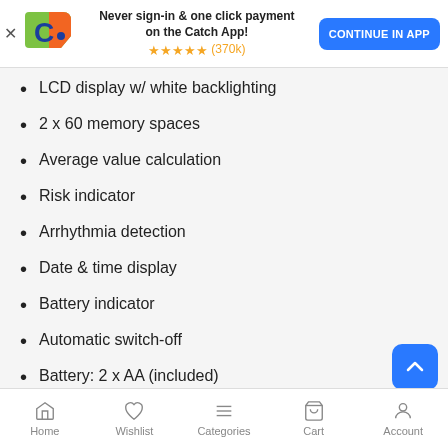[Figure (screenshot): Catch app promotional banner with logo, 'Never sign-in & one click payment on the Catch App!' text, 5-star rating (370k reviews), and 'CONTINUE IN APP' button]
LCD display w/ white backlighting
2 x 60 memory spaces
Average value calculation
Risk indicator
Arrhythmia detection
Date & time display
Battery indicator
Automatic switch-off
Battery: 2 x AA (included)
Cuff size (D): 23-43cm
Model: BM57
Colour: White
Dimensions (approx. mm): 94 x 161 x 64
3 YEAR MANUFACTURER WARRANTY
Home  Wishlist  Categories  Cart  Account